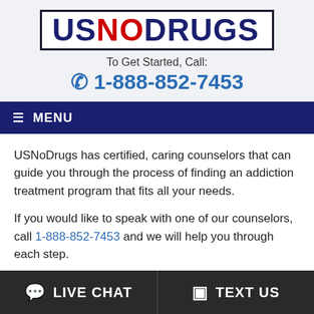[Figure (logo): USNoDrugs logo — 'US' and 'DRUGS' in dark navy bold, 'NO' in red bold, all inside a bordered box]
To Get Started, Call:
☎ 1-888-852-7453
≡ MENU
USNoDrugs has certified, caring counselors that can guide you through the process of finding an addiction treatment program that fits all your needs.
If you would like to speak with one of our counselors, call 1-888-852-7453 and we will help you through each step.
All calls are toll-free, and our services are completely confidential and free of charge.
💬 LIVE CHAT   ☐ TEXT US